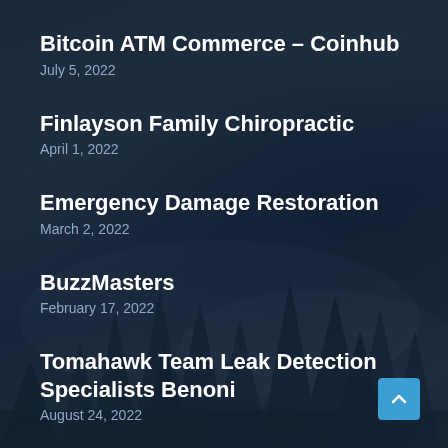Bitcoin ATM Commerce – Coinhub
July 5, 2022
Finlayson Family Chiropractic
April 1, 2022
Emergency Damage Restoration
March 2, 2022
BuzzMasters
February 17, 2022
Tomahawk Team Leak Detection Specialists Benoni
August 24, 2022